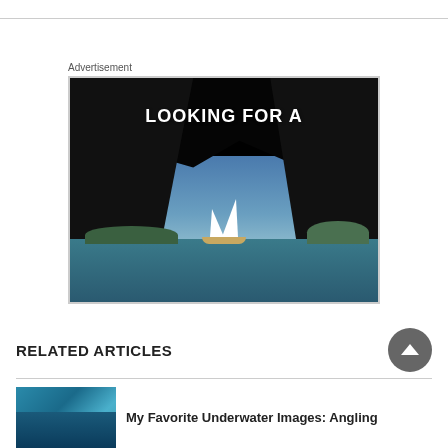Advertisement
[Figure (photo): Advertisement image showing a sailboat viewed through a cave opening with text 'LOOKING FOR A' overlaid on a dark background]
RELATED ARTICLES
[Figure (photo): Thumbnail image of underwater scene]
My Favorite Underwater Images: Angling